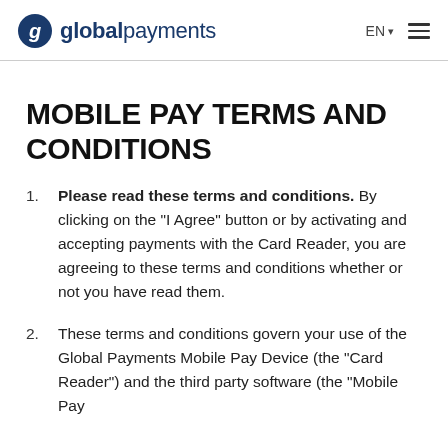global payments EN
MOBILE PAY TERMS AND CONDITIONS
Please read these terms and conditions. By clicking on the "I Agree" button or by activating and accepting payments with the Card Reader, you are agreeing to these terms and conditions whether or not you have read them.
These terms and conditions govern your use of the Global Payments Mobile Pay Device (the "Card Reader") and the third party software (the "Mobile Pay